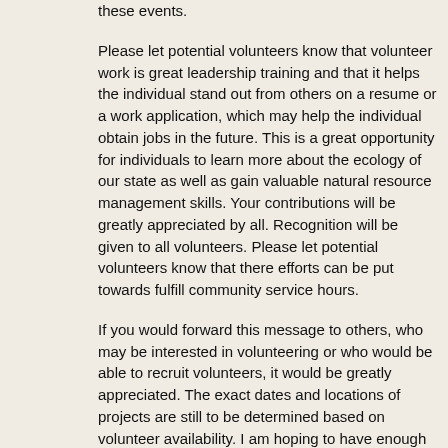these events.
Please let potential volunteers know that volunteer work is great leadership training and that it helps the individual stand out from others on a resume or a work application, which may help the individual obtain jobs in the future. This is a great opportunity for individuals to learn more about the ecology of our state as well as gain valuable natural resource management skills. Your contributions will be greatly appreciated by all. Recognition will be given to all volunteers. Please let potential volunteers know that there efforts can be put towards fulfill community service hours.
If you would forward this message to others, who may be interested in volunteering or who would be able to recruit volunteers, it would be greatly appreciated. The exact dates and locations of projects are still to be determined based on volunteer availability. I am hoping to have enough volunteers respond to start our volunteer efforts as soon as possible. There should be multiple volunteer opportunities each month depending on the number of volunteers willing to participate. The volunteers will collaborate as a work party to successfully complete each desired project. Our website (http://www.timberlandinvasives.org/) also indicates volunteer opportunities in the TIP management area. All are welcome to volunteer as much as they would like to.